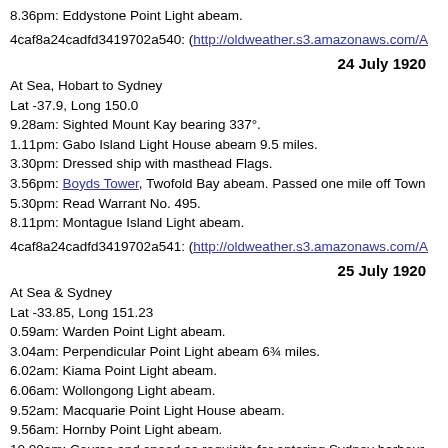8.36pm: Eddystone Point Light abeam.
4caf8a24cadfd3419702a540: (http://oldweather.s3.amazonaws.com/A
24 July 1920
At Sea, Hobart to Sydney
Lat -37.9, Long 150.0
9.28am: Sighted Mount Kay bearing 337°.
1.11pm: Gabo Island Light House abeam 9.5 miles.
3.30pm: Dressed ship with masthead Flags.
3.56pm: Boyds Tower, Twofold Bay abeam. Passed one mile off Town
5.30pm: Read Warrant No. 495.
8.11pm: Montague Island Light abeam.
4caf8a24cadfd3419702a541: (http://oldweather.s3.amazonaws.com/A
25 July 1920
At Sea & Sydney
Lat -33.85, Long 151.23
0.59am: Warden Point Light abeam.
3.04am: Perpendicular Point Light abeam 6¾ miles.
6.02am: Kiama Point Light abeam.
6.06am: Wollongong Light abeam.
9.52am: Macquarie Point Light House abeam.
9.56am: Hornby Point Light abeam.
10.00am: Course and speed as requisite for entering Sydney harbour.
10.41am: Moored ship. Anchor bearings: Fort Denison 177° 2.8 cables
Noon: HRH The Prince of Wales landed.
1.00pm: Gave leave to a watch until 7am.
6.30pm: Hoisted in Barge.